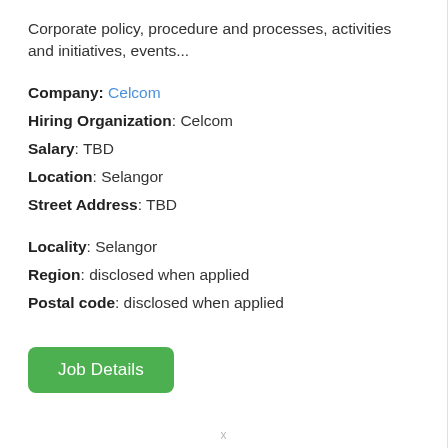Corporate policy, procedure and processes, activities and initiatives, events...
Company: Celcom
Hiring Organization: Celcom
Salary: TBD
Location: Selangor
Street Address: TBD
Locality: Selangor
Region: disclosed when applied
Postal code: disclosed when applied
Job Details